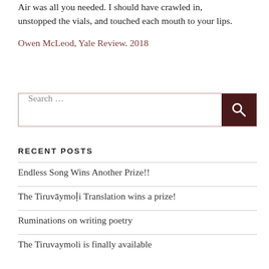Air was all you needed. I should have crawled in, unstopped the vials, and touched each mouth to your lips.
Owen McLeod, Yale Review. 2018
[Figure (other): Search box with text 'Search ...' and a dark search button with magnifying glass icon]
RECENT POSTS
Endless Song Wins Another Prize!!
The Tiruvāymoḷi Translation wins a prize!
Ruminations on writing poetry
The Tiruvaymoli is finally available